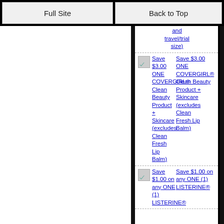Full Site | Back to Top
and travel/trial size)
Save $3.00 ONE COVERGIRL® Clean Beauty Product + Skincare (excludes Clean Fresh Lip Balm)
Save $3.00 ONE COVERGIRL® Clean Beauty Product + Skincare (excludes Clean Fresh Lip Balm)
Save $1.00 on any ONE (1) LISTERINE®
Save $1.00 on any ONE (1) LISTERINE®